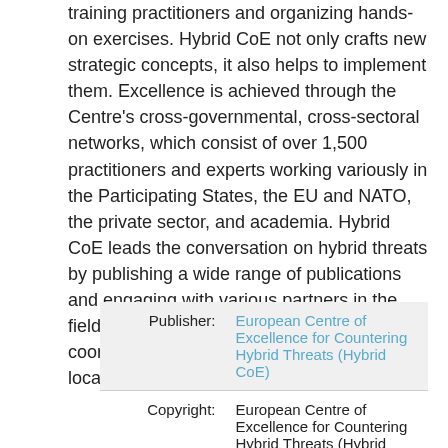training practitioners and organizing hands-on exercises. Hybrid CoE not only crafts new strategic concepts, it also helps to implement them. Excellence is achieved through the Centre's cross-governmental, cross-sectoral networks, which consist of over 1,500 practitioners and experts working variously in the Participating States, the EU and NATO, the private sector, and academia. Hybrid CoE leads the conversation on hybrid threats by publishing a wide range of publications and engaging with various partners in the field. The Centre's work is planned and coordinated by the Hybrid CoE Secretariat, located in Helsinki, Finland."
|  |  |
| --- | --- |
| Publisher: | European Centre of Excellence for Countering Hybrid Threats (Hybrid CoE) |
| Copyright: | European Centre of Excellence for Countering Hybrid Threats (Hybrid CoE) |
| Retrieved From: | Hybrid CoE: https://www.hybridcoe.fi/ |